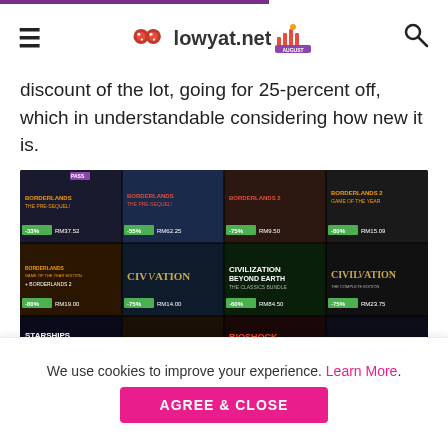lowyat.net
discount of the lot, going for 25-percent off, which is understandable considering how new it is.
[Figure (screenshot): Grid of Steam game sale tiles showing Borderlands Pre-Sequel, Borderlands 2, Civilization, Civilization Beyond Earth, Bioshock games with discount percentages ranging from -33% to -80%]
Other noteworthy games are the Civilization series. Three
We use cookies to improve your experience. Learn More.
AGREE & CLOSE